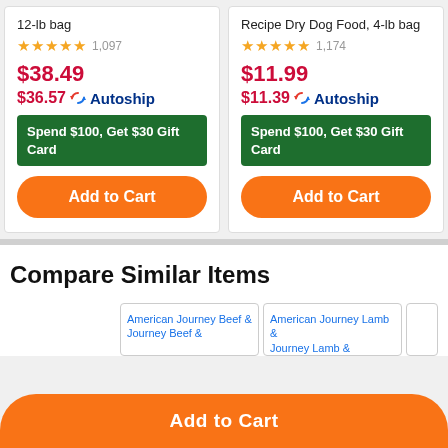12-lb bag
★★★★★ 1,097
$38.49
$36.57 Autoship
Spend $100, Get $30 Gift Card
Add to Cart
Recipe Dry Dog Food, 4-lb bag
★★★★★ 1,174
$11.99
$11.39 Autoship
Spend $100, Get $30 Gift Card
Add to Cart
Compare Similar Items
[Figure (screenshot): American Journey Beef & product thumbnail placeholder]
[Figure (screenshot): American Journey Lamb & product thumbnail placeholder]
Add to Cart